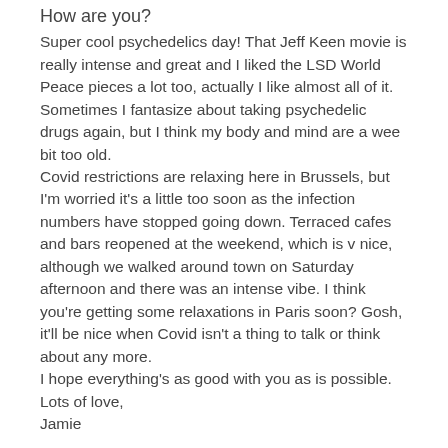How are you?
Super cool psychedelics day! That Jeff Keen movie is really intense and great and I liked the LSD World Peace pieces a lot too, actually I like almost all of it. Sometimes I fantasize about taking psychedelic drugs again, but I think my body and mind are a wee bit too old.
Covid restrictions are relaxing here in Brussels, but I'm worried it's a little too soon as the infection numbers have stopped going down. Terraced cafes and bars reopened at the weekend, which is v nice, although we walked around town on Saturday afternoon and there was an intense vibe. I think you're getting some relaxations in Paris soon? Gosh, it'll be nice when Covid isn't a thing to talk or think about any more.
I hope everything's as good with you as is possible.
Lots of love,
Jamie
REPLY